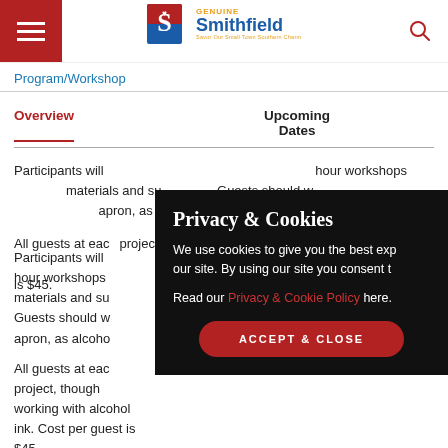[Figure (logo): Genuine Smithfield logo with text 'Savor Our Small-Town Southern Charm']
Program/Workshop
Overview
Upcoming Dates
Participants will [...]
All guests at each [...] Cost per guest is $45.
Privacy & Cookies
We use cookies to give you the best exp... our site. By using our site you consent t...
Read our Privacy & Cookie Policy here.
ACCEPT & CLOSE